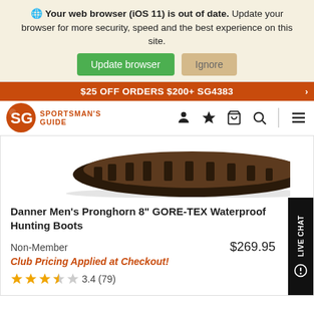Your web browser (iOS 11) is out of date. Update your browser for more security, speed and the best experience on this site.
Update browser   Ignore
$25 OFF ORDERS $200+ SG4383
[Figure (logo): Sportsman's Guide logo with orange SG letters in a circle and text SPORTSMAN'S GUIDE]
[Figure (photo): Bottom sole of a brown and black hunting boot]
Danner Men's Pronghorn 8" GORE-TEX Waterproof Hunting Boots
Non-Member   $269.95
Club Pricing Applied at Checkout!
3.4 (79)